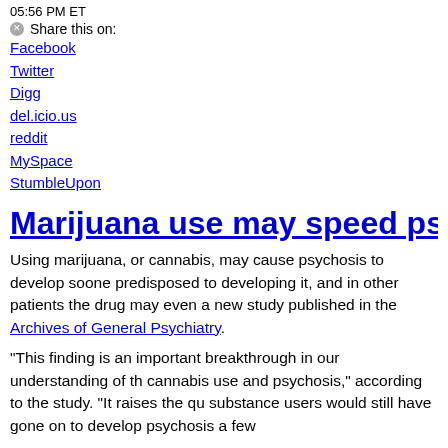05:56 PM ET
⊗Share this on:
Facebook
Twitter
Digg
del.icio.us
reddit
MySpace
StumbleUpon
Marijuana use may speed psycho…
Using marijuana, or cannabis, may cause psychosis to develop sooner in patients predisposed to developing it, and in other patients the drug may even… a new study published in the Archives of General Psychiatry.
"This finding is an important breakthrough in our understanding of the relationship between cannabis use and psychosis," according to the study. "It raises the question of whether substance users would still have gone on to develop psychosis a few…
Patients with psychosis tend to lose touch with reality and are prone to false beliefs about what is happening around them. Psychosis is frequently reported in those with diagnosed mental illness such as schizophrenia and bipolar disorder.